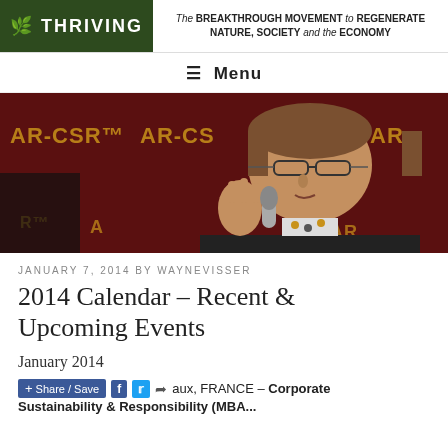THRIVING – The BREAKTHROUGH MOVEMENT to REGENERATE NATURE, SOCIETY and the ECONOMY
≡ Menu
[Figure (photo): Man speaking at a podium/event with an AR-CSR branded backdrop, wearing glasses and a patterned scarf, gesturing with hand and holding a microphone]
JANUARY 7, 2014 BY WAYNEVISSER
2014 Calendar – Recent & Upcoming Events
January 2014
Share / Save  ...aux, FRANCE – Corporate Sustainability & Responsibility (MBA...